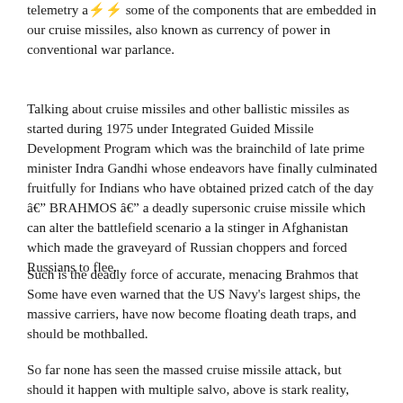telemetry and some of the components that are embedded in our cruise missiles, also known as currency of power in conventional war parlance.
Talking about cruise missiles and other ballistic missiles as started during 1975 under Integrated Guided Missile Development Program which was the brainchild of late prime minister Indra Gandhi whose endeavors have finally culminated fruitfully for Indians who have obtained prized catch of the day — BRAHMOS — a deadly supersonic cruise missile which can alter the battlefield scenario a la stinger in Afghanistan which made the graveyard of Russian choppers and forced Russians to flee.
Such is the deadly force of accurate, menacing Brahmos that Some have even warned that the US Navy's largest ships, the massive carriers, have now become floating death traps, and should be mothballed.
So far none has seen the massed cruise missile attack, but should it happen with multiple salvo, above is stark reality, even if not,